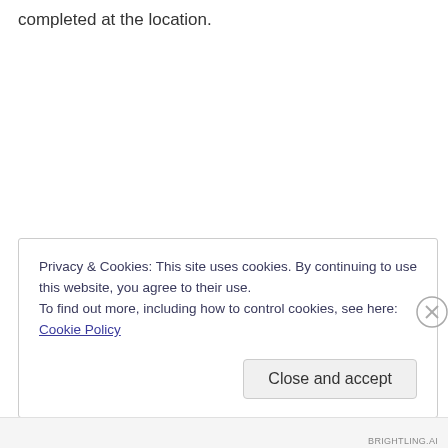completed at the location.
Privacy & Cookies: This site uses cookies. By continuing to use this website, you agree to their use.
To find out more, including how to control cookies, see here: Cookie Policy
Close and accept